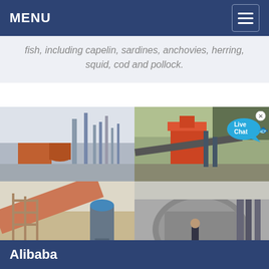MENU
fish, including capelin, sardines, anchovies, herring, squid, cod and pollock.
[Figure (photo): Four industrial/mining site photos in a 2x2 grid: top-left shows a cement or industrial plant with silos and structures; top-right shows a mining crusher/conveyor equipment on a hillside; bottom-left shows large rotary kiln or industrial pipes under construction with scaffolding; bottom-right shows a man standing in front of large industrial mill or crusher equipment.]
Alibaba